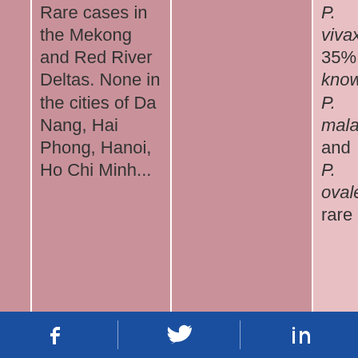|  | Rare cases in the Mekong and Red River Deltas. None in the cities of Da Nang, Hai Phong, Hanoi, Ho Chi Minh... |  | P. vivax 35%; P. knowlesi, P. malariae, and P. ovale rare |
Social media footer with Facebook, Twitter, LinkedIn icons